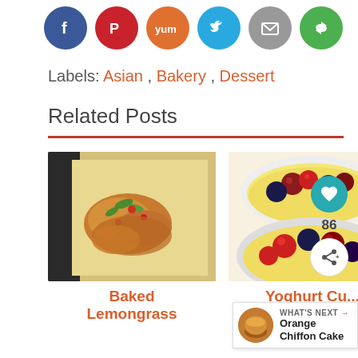[Figure (infographic): Row of social media share buttons: Facebook (blue), Pinterest (red), Yummly (orange), Twitter (blue), Email (gray), share/refresh (green)]
Labels: Asian , Bakery , Dessert
Related Posts
[Figure (photo): Baked lemongrass dish with shrimp/seafood garnished with green onions and red peppers on aluminum foil]
[Figure (photo): Yoghurt custard dessert with mixed berries (raspberries, blackberries, blueberries) in a white baking dish]
Baked Lemongrass
Yoghurt Cu... with Mixed Berries
[Figure (infographic): What's Next widget showing Orange Chiffon Cake with circular thumbnail photo]